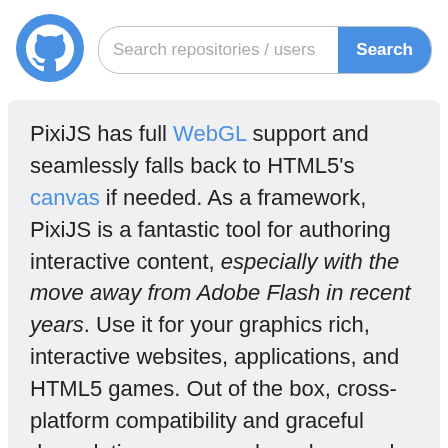[Figure (logo): GitHub logo — white cat/octocat icon on a blue circle]
Search repositories / users Search
PixiJS has full WebGL support and seamlessly falls back to HTML5's canvas if needed. As a framework, PixiJS is a fantastic tool for authoring interactive content, especially with the move away from Adobe Flash in recent years. Use it for your graphics rich, interactive websites, applications, and HTML5 games. Out of the box, cross-platform compatibility and graceful degradation mean you have less work to do and have more fun doing it! If you want to create polished and refined experiences